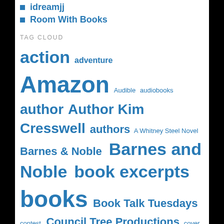idreamjj
Room With Books
TAG CLOUD
action adventure Amazon Audible audiobooks author Author Kim Cresswell authors A Whitney Steel Novel Barnes & Noble Barnes and Noble book excerpts books Book Talk Tuesdays contest Council Tree Productions cover reveal DEADLY SHADOW Dystopian e-publishing eBook eBooks Free